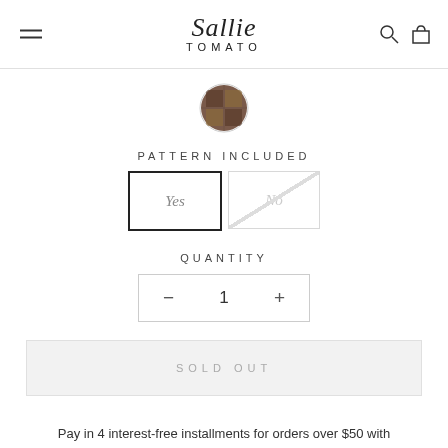Sallie Tomato
[Figure (photo): Small circular product thumbnail showing a dark floral/geometric patterned fabric swatch]
PATTERN INCLUDED
Yes / No (Yes selected)
QUANTITY
− 1 +
SOLD OUT
Pay in 4 interest-free installments for orders over $50 with